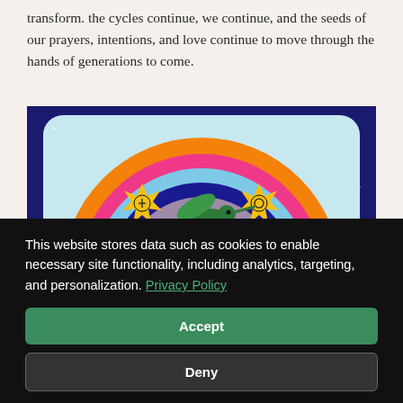transform. the cycles continue, we continue, and the seeds of our prayers, intentions, and love continue to move through the hands of generations to come.
[Figure (illustration): Colorful illustration on a dark blue background showing a rounded rectangle with a rainbow made of concentric arcs (orange, pink, light blue, dark blue, purple/gray). In the center of the rainbow is a green hummingbird holding a pink/magenta oval. On either side of the bird are two yellow starburst/sun shapes with small symbols inside them.]
This website stores data such as cookies to enable necessary site functionality, including analytics, targeting, and personalization. Privacy Policy
Accept
Deny